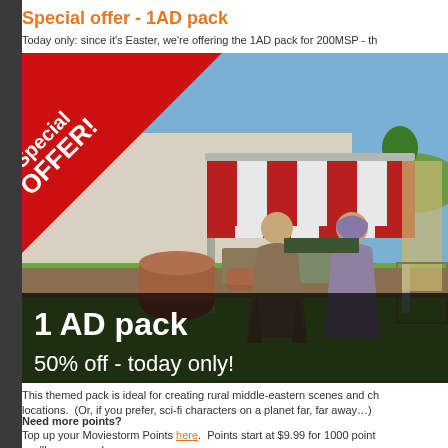Special offer - 1AD pack
Today only: since it's Easter, we're offering the 1AD pack for 200MSP - th
[Figure (screenshot): 3D rendered scene showing an ancient middle-eastern market stall with two characters in robes, a red-and-white striped awning, clay pots, and crates. A red diagonal banner with 'Special OFFER!' text overlays the top-left corner. White text at the bottom reads '1 AD pack' and '50% off - today only!']
This themed pack is ideal for creating rural middle-eastern scenes and ch locations.  (Or, if you prefer, sci-fi characters on a planet far, far away…)
Need more points?
Top up your Moviestorm Points here.  Points start at $9.99 for 1000 point you'll save more!